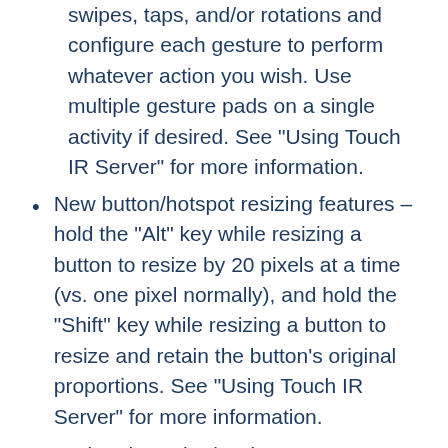swipes, taps, and/or rotations and configure each gesture to perform whatever action you wish. Use multiple gesture pads on a single activity if desired. See "Using Touch IR Server" for more information.
New button/hotspot resizing features – hold the "Alt" key while resizing a button to resize by 20 pixels at a time (vs. one pixel normally), and hold the "Shift" key while resizing a button to resize and retain the button's original proportions. See "Using Touch IR Server" for more information.
Updated Touch Flow image generation. Please re-generate your Touch Flow images after installing this version!